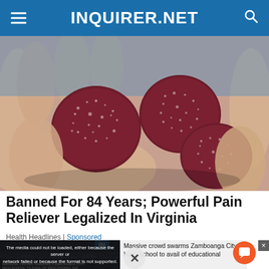INQUIRER.NET
[Figure (photo): Close-up photograph of red/dark gummy candy pieces covered in sugar crystals, held in a person's hand.]
Banned For 84 Years; Powerful Pain Reliever Legalized In Virginia
Health Headlines | Sponsored
[Figure (screenshot): Video player showing error: 'The media could not be loaded, either because the server or network failed or because the format is not supported.' Overlaid on a crowd image with text 'MASSIVE CROWD SWARMS ZAMBOANGA CITY HIGH SCHOOL TO AVAIL OF EDUCATIONAL AID'. Right side shows partial headline 'Massive crowd swarms Zamboanga City High School to avail of educational'. Bottom center has an X close button. Bottom right has an orange chat/comment button.]